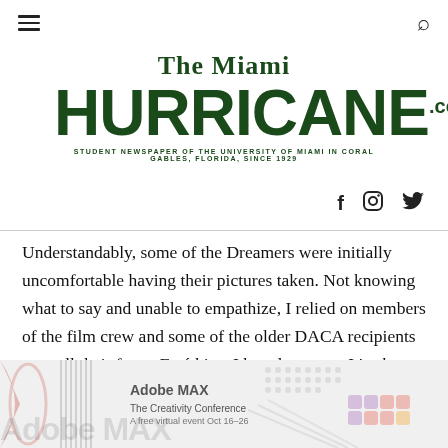The Miami HURRICANE.com — STUDENT NEWSPAPER OF THE UNIVERSITY OF MIAMI IN CORAL GABLES, FLORIDA, SINCE 1929
Understandably, some of the Dreamers were initially uncomfortable having their pictures taken. Not knowing what to say and unable to empathize, I relied on members of the film crew and some of the older DACA recipients to quell their fears. Está bien, I heard one say. It's okay.
[Figure (advertisement): Adobe MAX - The Creativity Conference advertisement banner at the bottom of the page]